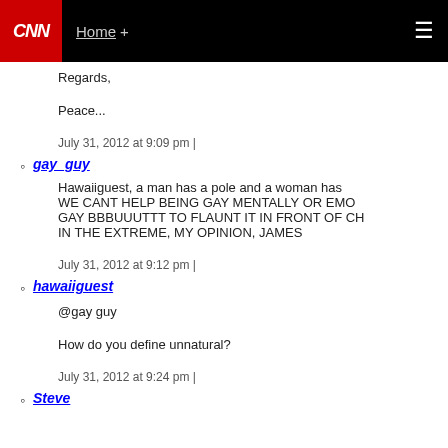CNN | Home +
Regards,

Peace...

July 31, 2012 at 9:09 pm |
gay_guy
Hawaiiguest, a man has a pole and a woman has WE CANT HELP BEING GAY MENTALLY OR EMO GAY BBBUUUTTT TO FLAUNT IT IN FRONT OF CH IN THE EXTREME, MY OPINION, JAMES

July 31, 2012 at 9:12 pm |
hawaiiguest
@gay guy

How do you define unnatural?

July 31, 2012 at 9:24 pm |
Steve